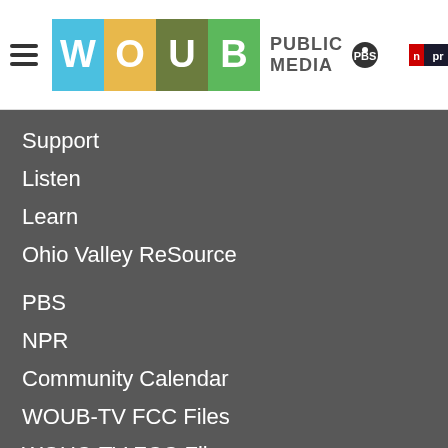[Figure (logo): WOUB Public Media logo with PBS and NPR badges in website header with hamburger menu and search icon]
Support
Listen
Learn
Ohio Valley ReSource
PBS
NPR
Community Calendar
WOUB-TV FCC Files
WOUC-TV FCC Files
WOUB-AM FCC Files
WOUB-FM FCC Files
WOUC-FM FCC Files
WOUH-FM FCC Files
WOUL-FM FCC Files